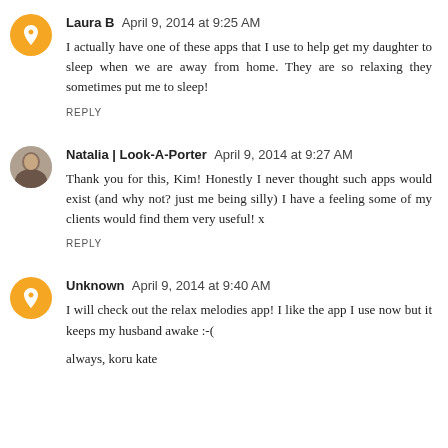Laura B  April 9, 2014 at 9:25 AM
I actually have one of these apps that I use to help get my daughter to sleep when we are away from home. They are so relaxing they sometimes put me to sleep!
REPLY
Natalia | Look-A-Porter  April 9, 2014 at 9:27 AM
Thank you for this, Kim! Honestly I never thought such apps would exist (and why not? just me being silly) I have a feeling some of my clients would find them very useful! x
REPLY
Unknown  April 9, 2014 at 9:40 AM
I will check out the relax melodies app! I like the app I use now but it keeps my husband awake :-(
always, koru kate